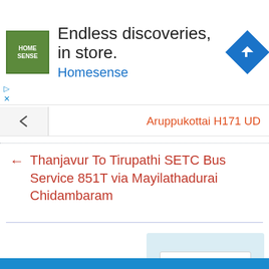[Figure (screenshot): HomeSense advertisement banner with logo, headline 'Endless discoveries, in store.', brand name 'Homesense', and a blue navigation/directions icon]
Aruppukottai H171 UD
Thanjavur To Tirupathi SETC Bus Service 851T via Mayilathadurai Chidambaram
[Figure (screenshot): Search widget with text input field and orange Search button on light blue background]